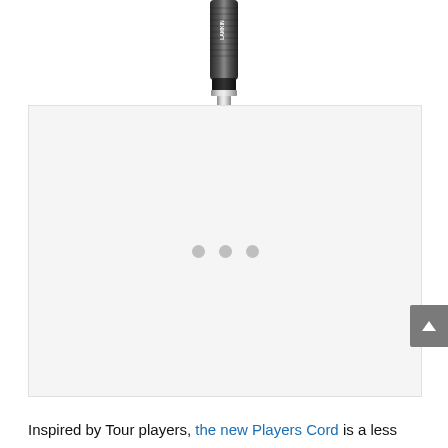[Figure (photo): Top portion of a black Lamkin golf grip against a white background, showing the textured cord pattern and Lamkin branding near the cap end]
[Figure (photo): Light gray product image loading area showing three gray dots (loading indicator) in the center, representing a product carousel or image viewer]
Inspired by Tour players, the new Players Cord is a less